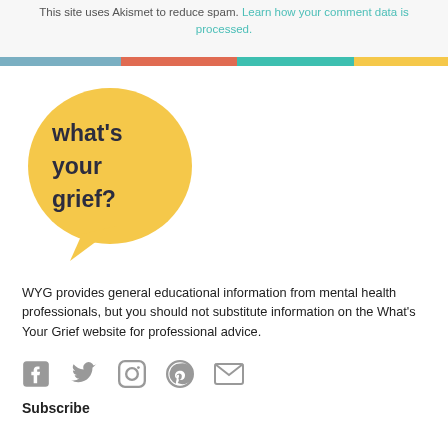This site uses Akismet to reduce spam. Learn how your comment data is processed.
[Figure (illustration): Horizontal color bar with four segments: blue-grey, coral/red, teal/green, and yellow]
[Figure (logo): What's Your Grief speech bubble logo - yellow speech bubble with dark text 'what's your grief?']
WYG provides general educational information from mental health professionals, but you should not substitute information on the What's Your Grief website for professional advice.
[Figure (illustration): Social media icons: Facebook, Twitter, Instagram, Pinterest, Email]
Subscribe